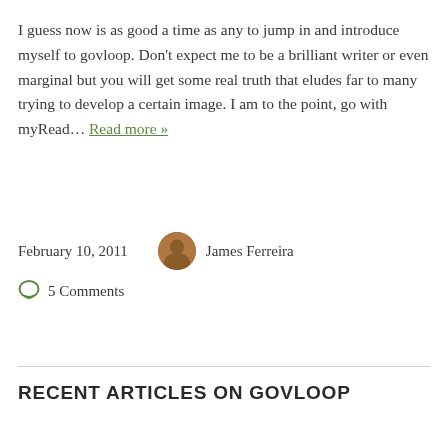I guess now is as good a time as any to jump in and introduce myself to govloop. Don't expect me to be a brilliant writer or even marginal but you will get some real truth that eludes far to many trying to develop a certain image. I am to the point, go with myRead… Read more »
February 10, 2011   James Ferreira
5 Comments
RECENT ARTICLES ON GOVLOOP